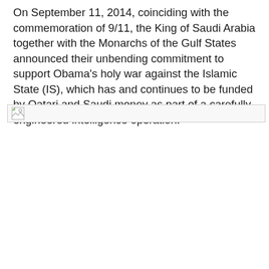On September 11, 2014, coinciding with the commemoration of 9/11, the King of Saudi Arabia together with the Monarchs of the Gulf States announced their unbending commitment to support Obama's holy war against the Islamic State (IS), which has and continues to be funded by Qatari and Saudi money as part of a carefully engineered intelligence operation.
[Figure (photo): Broken/unloaded image placeholder with a small broken-image icon in the top-left corner and a border outline.]